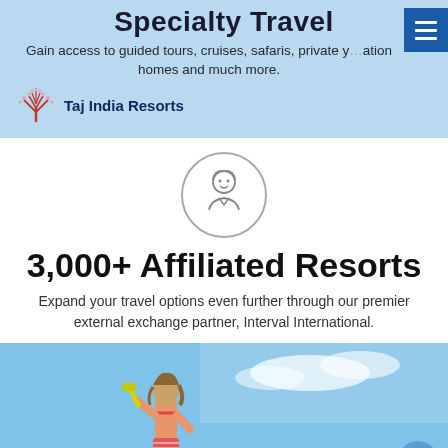Specialty Travel
Gain access to guided tours, cruises, safaris, private y...ation homes and much more.
[Figure (logo): Taj India Resorts logo with stylized tree and text 'Taj India Resorts']
[Figure (illustration): Circular icon showing a person/guide avatar outline]
3,000+ Affiliated Resorts
Expand your travel options even further through our premier external exchange partner, Interval International.
[Figure (photo): Woman in bikini with snorkel gear walking toward ocean on a sunny beach day]